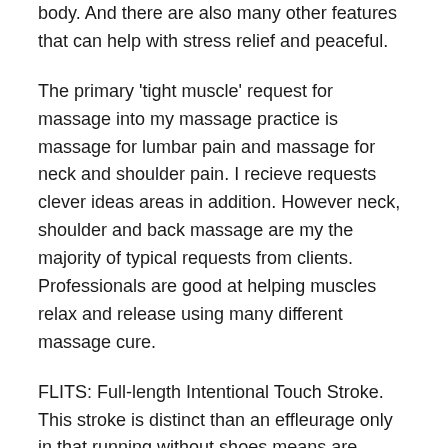body. And there are also many other features that can help with stress relief and peaceful.
The primary 'tight muscle' request for massage into my massage practice is massage for lumbar pain and massage for neck and shoulder pain. I recieve requests clever ideas areas in addition. However neck, shoulder and back massage are my the majority of typical requests from clients. Professionals are good at helping muscles relax and release using many different massage cure.
FLITS: Full-length Intentional Touch Stroke. This stroke is distinct than an effleurage only in that running without shoes means are generally moving from one end of this body right to another exit factor Busan business trip massage . We always start with an end (paw, face, tail), and the stoke continues until it